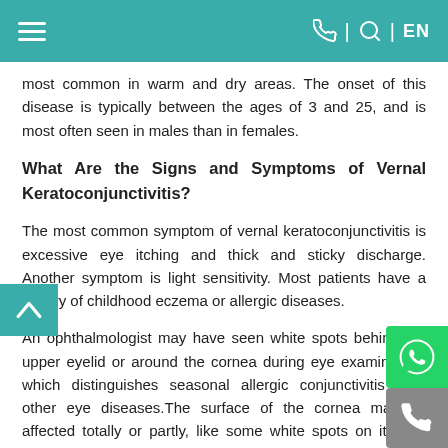≡  ☎ | 🔍 | EN
most common in warm and dry areas. The onset of this disease is typically between the ages of 3 and 25, and is most often seen in males than in females.
What Are the Signs and Symptoms of Vernal Keratoconjunctivitis?
The most common symptom of vernal keratoconjunctivitis is excessive eye itching and thick and sticky discharge. Another symptom is light sensitivity. Most patients have a history of childhood eczema or allergic diseases.
An ophthalmologist may have seen white spots behind the upper eyelid or around the cornea during eye examination, which distinguishes seasonal allergic conjunctivitis from other eye diseases.The surface of the cornea may be affected totally or partly, like some white spots on it or in severe cases, with certain sterile